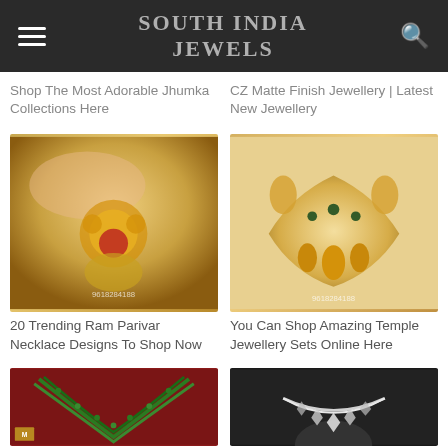SOUTH INDIA JEWELS
Shop The Most Adorable Jhumka Collections Here
CZ Matte Finish Jewellery | Latest New Jewellery
[Figure (photo): Gold Ram Parivar necklace design held in hand, with watermark 9618284188]
[Figure (photo): Gold temple jewellery necklace set with earrings on fabric background, watermark 9618284188]
20 Trending Ram Parivar Necklace Designs To Shop Now
You Can Shop Amazing Temple Jewellery Sets Online Here
[Figure (photo): Green beaded multi-strand necklace on red background]
[Figure (photo): Diamond/CZ necklace on dark mannequin]